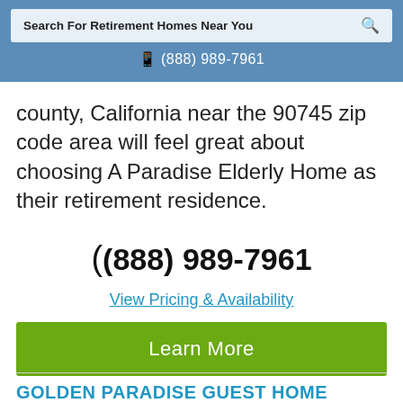Search For Retirement Homes Near You
(888) 989-7961
county, California near the 90745 zip code area will feel great about choosing A Paradise Elderly Home as their retirement residence.
(888) 989-7961
View Pricing & Availability
Learn More
GOLDEN PARADISE GUEST HOME